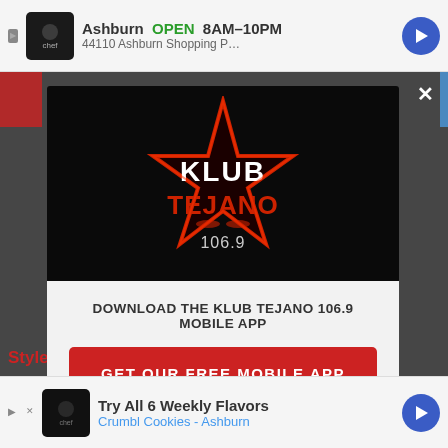[Figure (screenshot): Top advertisement banner showing Ashburn location, OPEN 8AM-10PM, address partial, with navigation icon]
[Figure (logo): KLUB TEJANO 106.9 radio station logo: black star with red outline, white bold text 'KLUB' above red 'TEJANO', '106.9' below, on black background]
DOWNLOAD THE KLUB TEJANO 106.9 MOBILE APP
GET OUR FREE MOBILE APP
Also listen on:  amazon alexa
[Figure (screenshot): Bottom advertisement banner: Try All 6 Weekly Flavors, Crumbl Cookies - Ashburn, with navigation icon]